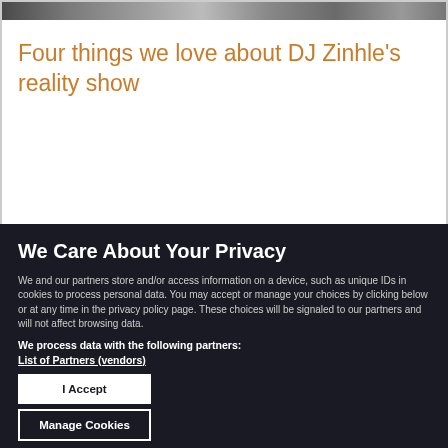[Figure (photo): Cropped photo strip of people at the top of the page]
Four things we love about DJ Zinhle’s reality show
We Care About Your Privacy
We and our partners store and/or access information on a device, such as unique IDs in cookies to process personal data. You may accept or manage your choices by clicking below or at any time in the privacy policy page. These choices will be signaled to our partners and will not affect browsing data.
We process data with the following partners:
List of Partners (vendors)
I Accept
Manage Cookies